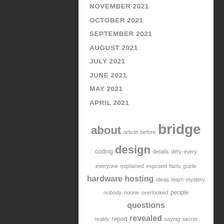NOVEMBER 2021
OCTOBER 2021
SEPTEMBER 2021
AUGUST 2021
JULY 2021
JUNE 2021
MAY 2021
APRIL 2021
[Figure (infographic): Tag cloud with words: about, article, before, bridge, coding, design, details, dirty, every, everyone, explained, exposed, facts, guide, hardware, hosting, ideas, learn, mystery, nobody, noone, overlooked, people, questions, reality, report, revealed, saying, secret, secrets, short, should, simple, software, strategies, techniques, technology, thing, things, today, truth, unanswered, unmasked]